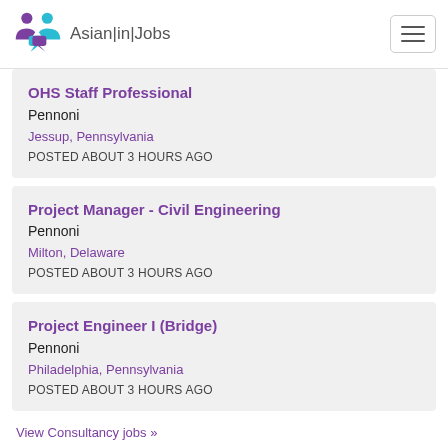Asian|in|Jobs
OHS Staff Professional
Pennoni
Jessup, Pennsylvania
POSTED ABOUT 3 HOURS AGO
Project Manager - Civil Engineering
Pennoni
Milton, Delaware
POSTED ABOUT 3 HOURS AGO
Project Engineer I (Bridge)
Pennoni
Philadelphia, Pennsylvania
POSTED ABOUT 3 HOURS AGO
View Consultancy jobs »